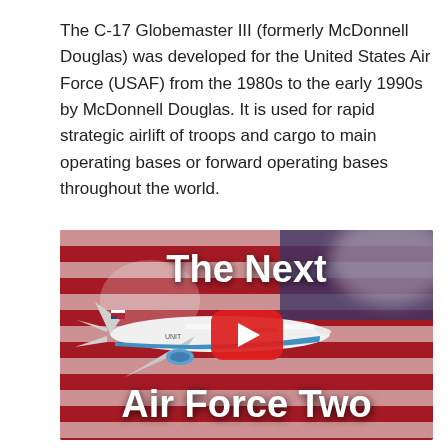The C-17 Globemaster III (formerly McDonnell Douglas) was developed for the United States Air Force (USAF) from the 1980s to the early 1990s by McDonnell Douglas. It is used for rapid strategic airlift of troops and cargo to main operating bases or forward operating bases throughout the world.
[Figure (screenshot): YouTube video thumbnail showing an airplane resembling Air Force One flying against a blurred American flag background, with white bold text 'The Next' at the top and 'Air Force Two' at the bottom, and a YouTube play button in the center.]